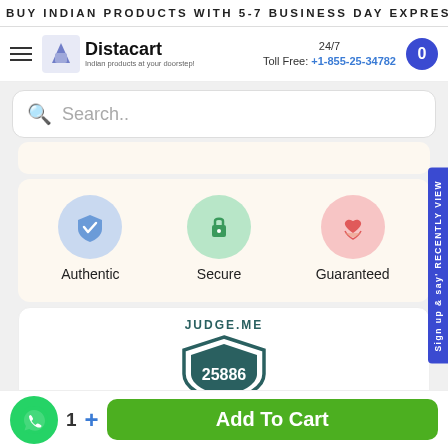BUY INDIAN PRODUCTS WITH 5-7 BUSINESS DAY EXPRESS SH
[Figure (logo): Distacart logo with tagline 'Indian products at your doorstep!']
24/7 Toll Free: +1-855-25-34782
Search..
[Figure (infographic): Three trust badges: Authentic (blue shield check circle), Secure (green lock circle), Guaranteed (pink heart hands circle)]
[Figure (other): JUDGE.ME badge with number 25886]
Add To Cart